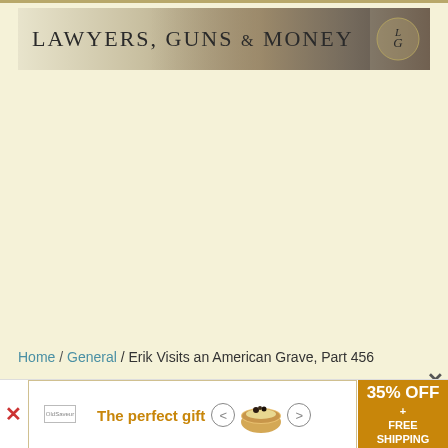[Figure (logo): Lawyers, Guns & Money blog header banner with stylized text and LGM logo on right side]
Home / General / Erik Visits an American Grave, Part 456
[Figure (infographic): Advertisement banner: 'The perfect gift' with bowl product image, arrows, 35% OFF + FREE SHIPPING promotional box]